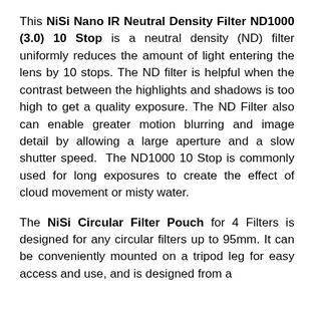This NiSi Nano IR Neutral Density Filter ND1000 (3.0) 10 Stop is a neutral density (ND) filter uniformly reduces the amount of light entering the lens by 10 stops. The ND filter is helpful when the contrast between the highlights and shadows is too high to get a quality exposure. The ND Filter also can enable greater motion blurring and image detail by allowing a large aperture and a slow shutter speed. The ND1000 10 Stop is commonly used for long exposures to create the effect of cloud movement or misty water.
The NiSi Circular Filter Pouch for 4 Filters is designed for any circular filters up to 95mm. It can be conveniently mounted on a tripod leg for easy access and use, and is designed from a